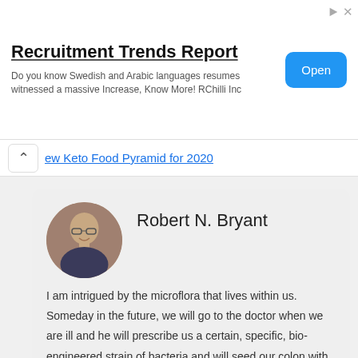[Figure (infographic): Advertisement banner for Recruitment Trends Report by RChilli Inc with an Open button]
Recruitment Trends Report
Do you know Swedish and Arabic languages resumes witnessed a massive Increase, Know More! RChilli Inc
ew Keto Food Pyramid for 2020
Robert N. Bryant
I am intrigued by the microflora that lives within us. Someday in the future, we will go to the doctor when we are ill and he will prescribe us a certain, specific, bio-engineered strain of bacteria and will seed our colon with that strain. This bacteria will heal us better and safer than man-made drugs and chemicals.
About me